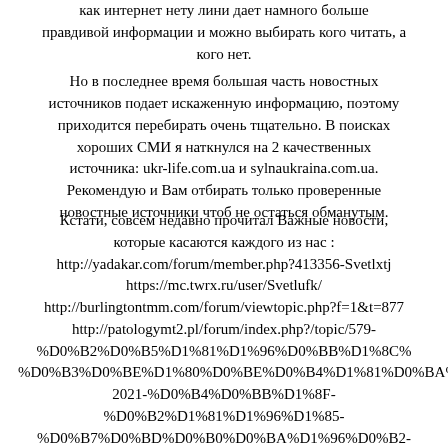как интернет нету лини дает намного больше правдивой информации и можно выбирать кого читать, а кого нет.
Но в последнее время большая часть новостных источников подает искаженную информацию, поэтому приходится перебирать очень тщательно. В поисках хороших СМИ я наткнулся на 2 качественных источника: ukr-life.com.ua и sylnaukraina.com.ua. Рекомендую и Вам отбирать только проверенные новостные источники чтоб не остаться обманутым.
Кстати, совсем недавно прочитал Важные новости, которые касаются каждого из нас :
http://yadakar.com/forum/member.php?413356-Svetlxtj
https://mc.twrx.ru/user/Svetlufk/
http://burlingtontmm.com/forum/viewtopic.php?f=1&t=877
http://patologymt2.pl/forum/index.php?/topic/579-%D0%B2%D0%B5%D1%81%D1%96%D0%BB%D1%8C%D0%B3%D0%BE%D1%80%D0%BE%D0%B4%D1%81%D0%BA%2021-%D0%B4%D0%BB%D1%8F-%D0%B2%D1%81%D1%96%D1%85-%D0%B7%D0%BD%D0%B0%D0%BA%D1%96%D0%B2-%D0%B7%D0%BE%D0%B4%D1%96%D0%B0%D0%BA%
http://ibanbg.com/forum.php?mod=viewthread&tid=2887&extra=